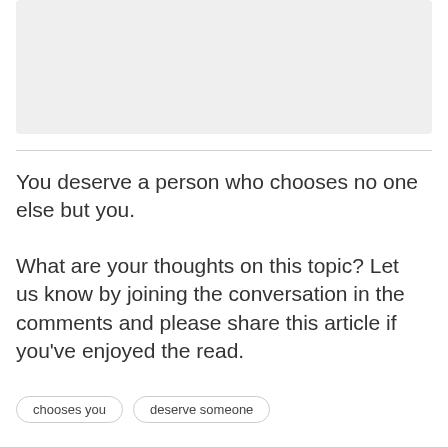[Figure (other): Gray placeholder box at the top of the page]
You deserve a person who chooses no one else but you.
What are your thoughts on this topic? Let us know by joining the conversation in the comments and please share this article if you've enjoyed the read.
chooses you
deserve someone